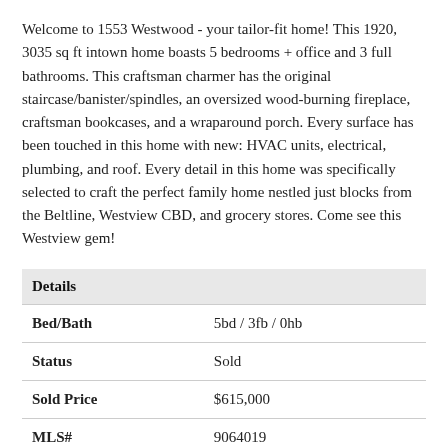Welcome to 1553 Westwood - your tailor-fit home! This 1920, 3035 sq ft intown home boasts 5 bedrooms + office and 3 full bathrooms. This craftsman charmer has the original staircase/banister/spindles, an oversized wood-burning fireplace, craftsman bookcases, and a wraparound porch. Every surface has been touched in this home with new: HVAC units, electrical, plumbing, and roof. Every detail in this home was specifically selected to craft the perfect family home nestled just blocks from the Beltline, Westview CBD, and grocery stores. Come see this Westview gem!
| Details |  |
| --- | --- |
| Bed/Bath | 5bd / 3fb / 0hb |
| Status | Sold |
| Sold Price | $615,000 |
| MLS# | 9064019 |